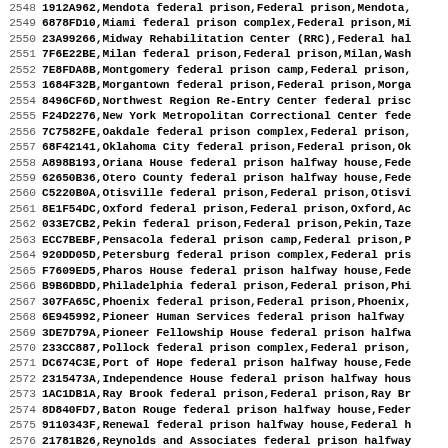| Row | ID | Name/Description (truncated) |
| --- | --- | --- |
| 2548 | 1912A962 | Mendota federal prison,Federal prison,Mendota,... |
| 2549 | 6878FD10 | Miami federal prison complex,Federal prison,Mi... |
| 2550 | 23A99266 | Midway Rehabilitation Center (RRC),Federal hal... |
| 2551 | 7F6E22BE | Milan federal prison,Federal prison,Milan,Wash... |
| 2552 | 7E8FDA8B | Montgomery federal prison camp,Federal prison,... |
| 2553 | 1684F32B | Morgantown federal prison,Federal prison,Morga... |
| 2554 | 8496CF6D | Northwest Region Re-Entry Center federal priso... |
| 2555 | F24D2276 | New York Metropolitan Correctional Center fede... |
| 2556 | 7C7582FE | Oakdale federal prison complex,Federal prison,... |
| 2557 | 68F42141 | Oklahoma City federal prison,Federal prison,Ok... |
| 2558 | A898B193 | Oriana House federal prison halfway house,Fede... |
| 2559 | 62650B36 | Otero County federal prison halfway house,Fede... |
| 2560 | C5220B0A | Otisville federal prison,Federal prison,Otisvi... |
| 2561 | 8E1F54DC | Oxford federal prison,Federal prison,Oxford,Ac... |
| 2562 | 033E7CB2 | Pekin federal prison,Federal prison,Pekin,Taze... |
| 2563 | ECC7BEBF | Pensacola federal prison camp,Federal prison,P... |
| 2564 | 920DD05D | Petersburg federal prison complex,Federal pris... |
| 2565 | F7609ED5 | Pharos House federal prison halfway house,Fede... |
| 2566 | B9B6DBDD | Philadelphia federal prison,Federal prison,Phi... |
| 2567 | 307FA65C | Phoenix federal prison,Federal prison,Phoenix,... |
| 2568 | 6E945992 | Pioneer Human Services federal prison halfway ... |
| 2569 | 3DE7D79A | Pioneer Fellowship House federal prison halfwa... |
| 2570 | 233CC887 | Pollock federal prison complex,Federal prison,... |
| 2571 | DC674C3E | Port of Hope federal prison halfway house,Fede... |
| 2572 | 2315473A | Independence House federal prison halfway hous... |
| 2573 | 1AC1DB1A | Ray Brook federal prison,Federal prison,Ray Br... |
| 2574 | 8D840FD7 | Baton Rouge federal prison halfway house,Feder... |
| 2575 | 9110343F | Renewal federal prison halfway house,Federal h... |
| 2576 | 21781B26 | Reynolds and Associates federal prison halfway... |
| 2577 | BB631DBE | Riverside Christian Ministries federal prison ... |
| 2578 | 9526F468 | Rochester federal prison medical center,Federa... |
| 2579 | B33241F0 | Rock County Sheriff's Deptartment federal pri... |